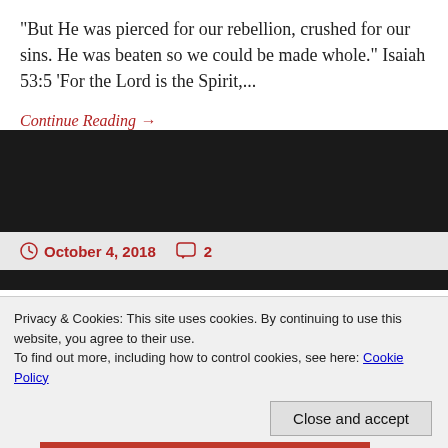"But He was pierced for our rebellion, crushed for our sins. He was beaten so we could be made whole." Isaiah 53:5 'For the Lord is the Spirit,...
Continue Reading →
October 4, 2018  2
Shackled Down
Privacy & Cookies: This site uses cookies. By continuing to use this website, you agree to their use.
To find out more, including how to control cookies, see here: Cookie Policy
Close and accept